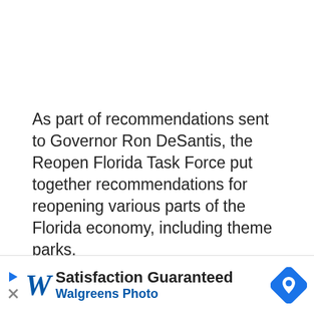As part of recommendations sent to Governor Ron DeSantis, the Reopen Florida Task Force put together recommendations for reopening various parts of the Florida economy, including theme parks.
As outlined by DeSantis in a press conference yesterday, Florida will begin the reopening process in phases, beginning with Phase 1 on Monday, May 4th. While DeSantis didn't address theme parks or large venues in his powerpoint slides or subsequent executive order, Disney has announced it will be cancelling reservations through May 23rd. It's safe to say that the theme parks will not be reopening before...
[Figure (infographic): Walgreens Photo advertisement banner with logo, 'Satisfaction Guaranteed' text, and a blue diamond-shaped map pin icon.]